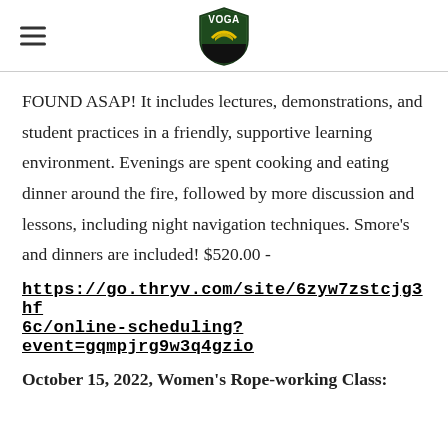VOGA
FOUND ASAP! It includes lectures, demonstrations, and student practices in a friendly, supportive learning environment. Evenings are spent cooking and eating dinner around the fire, followed by more discussion and lessons, including night navigation techniques. Smore's and dinners are included! $520.00 -
https://go.thryv.com/site/6zyw7zstcjg3hf6c/online-scheduling?event=gqmpjrg9w3q4gzio
October 15, 2022, Women's Rope-working Class: